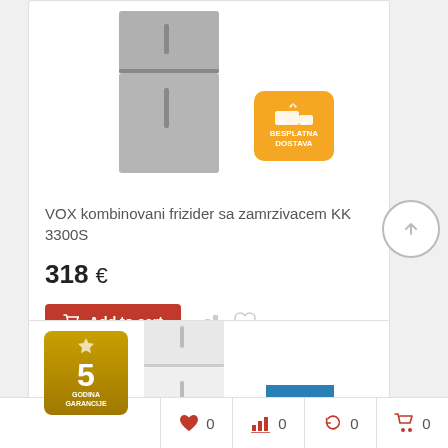[Figure (photo): VOX combined fridge-freezer KK 3300S with orange free delivery badge]
VOX kombinovani frizider sa zamrzivacem KK 3300S
318 €
Add to cart
[Figure (photo): White combined fridge-freezer with gold 5-year guarantee badge and blue 5 badge]
0  0  0  0